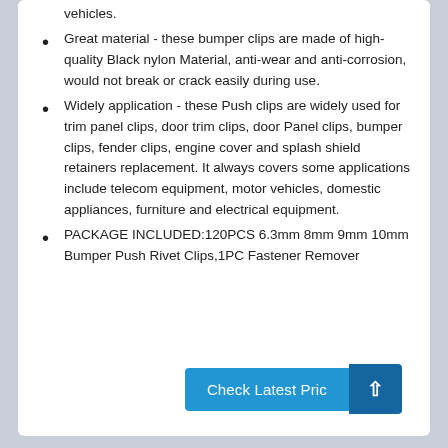vehicles.
Great material - these bumper clips are made of high-quality Black nylon Material, anti-wear and anti-corrosion, would not break or crack easily during use.
Widely application - these Push clips are widely used for trim panel clips, door trim clips, door Panel clips, bumper clips, fender clips, engine cover and splash shield retainers replacement. It always covers some applications include telecom equipment, motor vehicles, domestic appliances, furniture and electrical equipment.
PACKAGE INCLUDED:120PCS 6.3mm 8mm 9mm 10mm Bumper Push Rivet Clips,1PC Fastener Remover